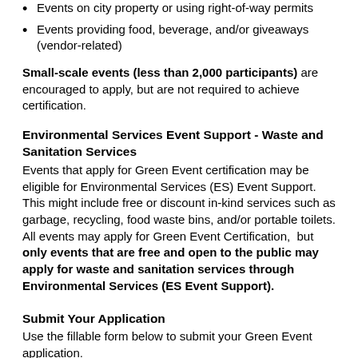Events on city property or using right-of-way permits
Events providing food, beverage, and/or giveaways (vendor-related)
Small-scale events (less than 2,000 participants) are encouraged to apply, but are not required to achieve certification.
Environmental Services Event Support  - Waste and Sanitation Services
Events that apply for Green Event certification may be eligible for Environmental Services (ES) Event Support. This might include free or discount in-kind services such as garbage, recycling, food waste bins, and/or portable toilets. All events may apply for Green Event Certification,  but only events that are free and open to the public may apply for waste and sanitation services through Environmental Services (ES Event Support).
Submit Your Application
Use the fillable form below to submit your Green Event application.